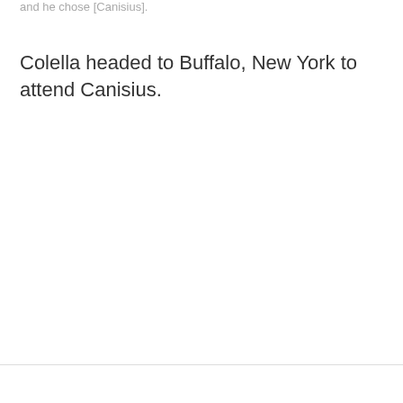and he chose [Canisius].
Colella headed to Buffalo, New York to attend Canisius.